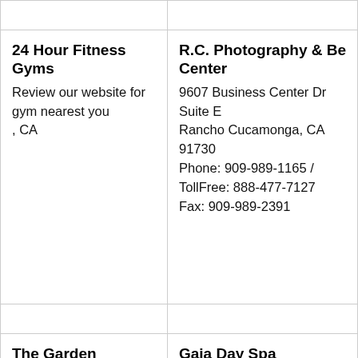| 24 Hour Fitness Gyms
Review our website for gym nearest you
, CA | R.C. Photography & Be Center
9607 Business Center Dr
Suite E
Rancho Cucamonga, CA 91730
Phone: 909-989-1165 / TollFree: 888-477-7127
Fax: 909-989-2391 |
| The Garden Sanctuary Spa
426 South Ronson Blvd.
Los Angeles, CA 90048 | Gaia Day Spa
1299 Prospect Street
La Jolla, CA 92037 |